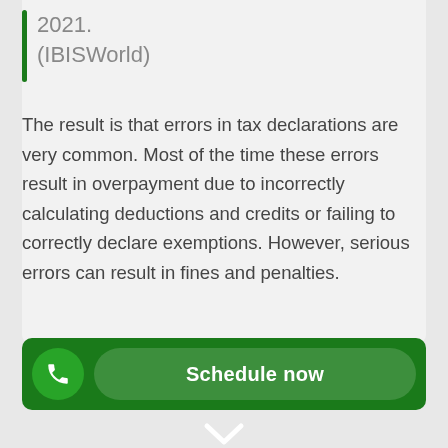2021.
(IBISWorld)
The result is that errors in tax declarations are very common. Most of the time these errors result in overpayment due to incorrectly calculating deductions and credits or failing to correctly declare exemptions. However, serious errors can result in fines and penalties.
[Figure (other): Dark green bottom bar with a circular phone icon button on the left and a 'Schedule now' rounded button on the right]